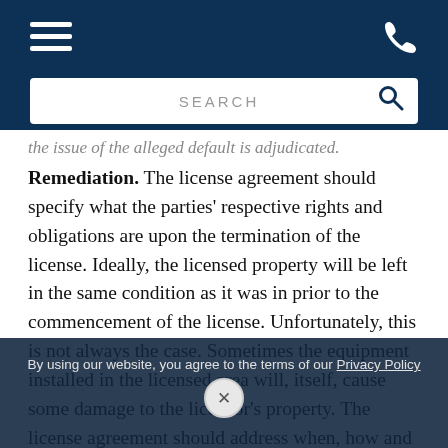[Navigation header with hamburger menu, phone icon, and search bar]
the issue of the alleged default is adjudicated.
Remediation. The license agreement should specify what the parties' respective rights and obligations are upon the termination of the license. Ideally, the licensed property will be left in the same condition as it was in prior to the commencement of the license. Unfortunately, this is not always the case. Sometimes the equipment installed in the licensed area will, itself, cause some damage to the licensor's property. The license agreement should address when, how and by whom the damage is repaired. Again, RPAPL §881 expressly provides that the licensee shall be strictly liable for any damage caused during the course of the
By using our website, you agree to the terms of our Privacy Policy